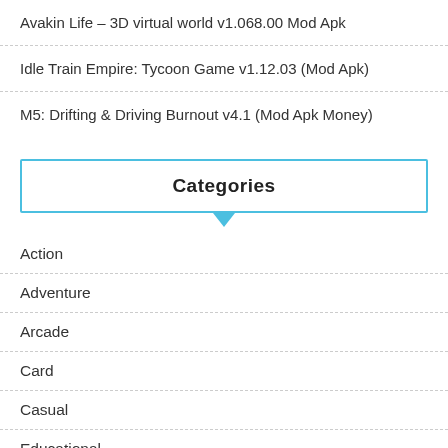Avakin Life – 3D virtual world v1.068.00 Mod Apk
Idle Train Empire: Tycoon Game v1.12.03 (Mod Apk)
M5: Drifting & Driving Burnout v4.1 (Mod Apk Money)
Categories
Action
Adventure
Arcade
Card
Casual
Educational
Puzzle